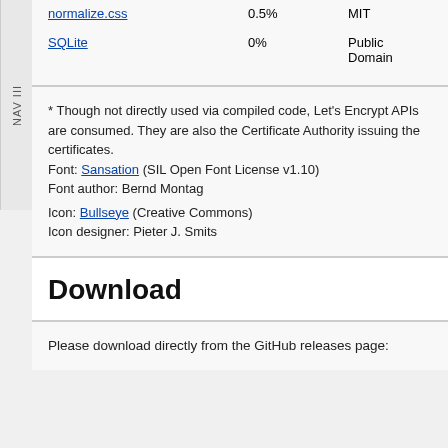| Name | Percentage | License |
| --- | --- | --- |
| normalize.css | 0.5% | MIT |
| SQLite | 0% | Public Domain |
* Though not directly used via compiled code, Let's Encrypt APIs are consumed. They are also the Certificate Authority issuing the certificates.
Font: Sansation (SIL Open Font License v1.10)
Font author: Bernd Montag
Icon: Bullseye (Creative Commons)
Icon designer: Pieter J. Smits
Download
Please download directly from the GitHub releases page: